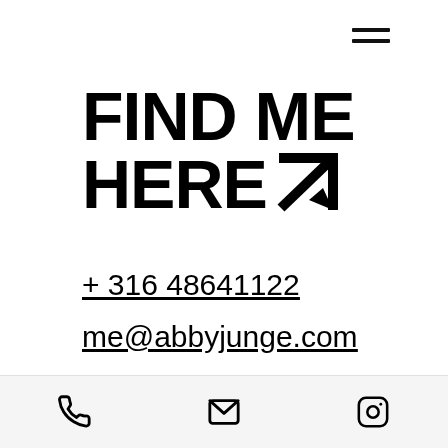[Figure (other): Hamburger menu icon (two horizontal lines) in top right area]
FIND ME HERE ↘
+ 316 48641122
me@abbyjunge.com
[Figure (other): Instagram logo icon]
SUBSCRIBE ↘ ↖
To my very seldom newsletter, telling
Bottom navigation bar with phone, email, and Instagram icons